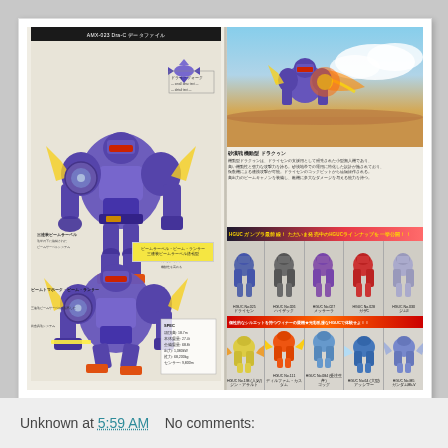[Figure (photo): Photograph of a Japanese Gundam model kit magazine spread showing a purple mecha (AMX-023 or similar) on the left page with Japanese text descriptions and specification callouts, and on the right page showing an action scene illustration at the top, Japanese text descriptions, and HGUC model kit catalog rows at the bottom featuring multiple Gundam model figures in two rows with Japanese labels.]
Unknown at 5:59 AM    No comments: